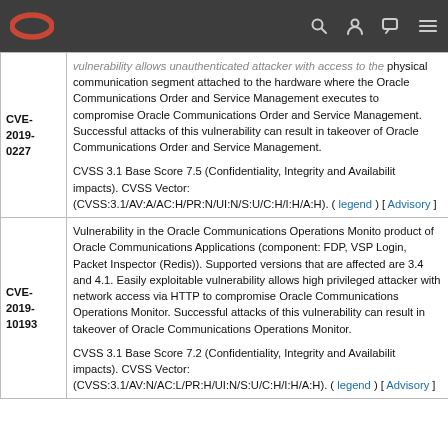Oracle navigation bar with logo and icons
| CVE ID | Description |
| --- | --- |
| CVE-2019-0227 | vulnerability allows unauthenticated attacker with access to the physical communication segment attached to the hardware where the Oracle Communications Order and Service Management executes to compromise Oracle Communications Order and Service Management. Successful attacks of this vulnerability can result in takeover of Oracle Communications Order and Service Management.

CVSS 3.1 Base Score 7.5 (Confidentiality, Integrity and Availability impacts). CVSS Vector: (CVSS:3.1/AV:A/AC:H/PR:N/UI:N/S:U/C:H/I:H/A:H). ( legend ) [ Advisory ] |
| CVE-2019-10193 | Vulnerability in the Oracle Communications Operations Monitor product of Oracle Communications Applications (component: FDP, VSP Login, Packet Inspector (Redis)). Supported versions that are affected are 3.4 and 4.1. Easily exploitable vulnerability allows high privileged attacker with network access via HTTP to compromise Oracle Communications Operations Monitor. Successful attacks of this vulnerability can result in takeover of Oracle Communications Operations Monitor.

CVSS 3.1 Base Score 7.2 (Confidentiality, Integrity and Availability impacts). CVSS Vector: (CVSS:3.1/AV:N/AC:L/PR:H/UI:N/S:U/C:H/I:H/A:H). ( legend ) [ Advisory ] |